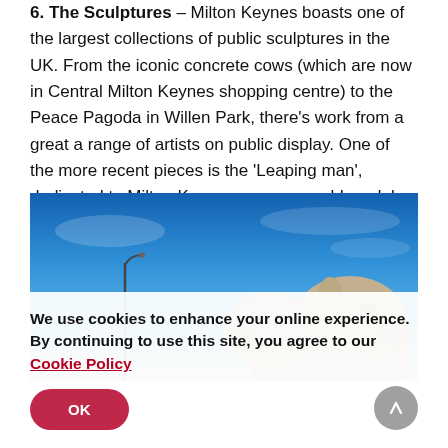6. The Sculptures – Milton Keynes boasts one of the largest collections of public sculptures in the UK. From the iconic concrete cows (which are now in Central Milton Keynes shopping centre) to the Peace Pagoda in Willen Park, there's work from a great a range of artists on public display. One of the more recent pieces is the 'Leaping man', dedicated to Milton Keynes very own gold medal winning Olympian Greg Rutherford.
[Figure (photo): Photo of large stone/concrete animal sculptures (appearing to be cows or similar) against a bright blue sky, with a lamp post visible to the left.]
We use cookies to enhance your online experience. By continuing to use this site, you agree to our Cookie Policy